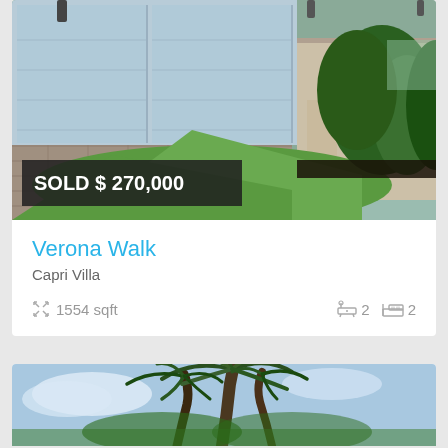[Figure (photo): Exterior photo of a house with light blue garage doors, paver driveway, green lawn, and bushes. A dark overlay badge reads SOLD $ 270,000.]
Verona Walk
Capri Villa
1554 sqft   2   2
[Figure (photo): Partial photo of palm trees against a blue sky, top of second listing card.]